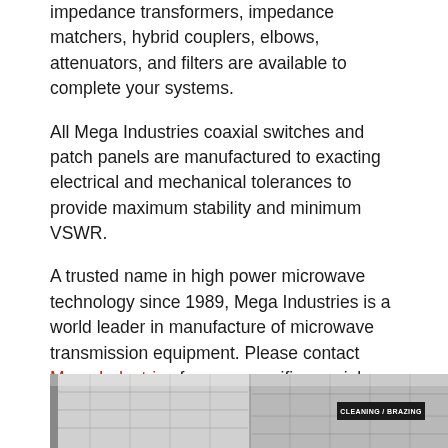impedance transformers, impedance matchers, hybrid couplers, elbows, attenuators, and filters are available to complete your systems.
All Mega Industries coaxial switches and patch panels are manufactured to exacting electrical and mechanical tolerances to provide maximum stability and minimum VSWR.
A trusted name in high power microwave technology since 1989, Mega Industries is a world leader in manufacture of microwave transmission equipment. Please contact Mega Industries for your specific coaxial switch and patch panel needs.
[Figure (photo): Partial view of a manufacturing or industrial facility interior with shelving/racks visible and a sign reading CLEANING / BRAZING]